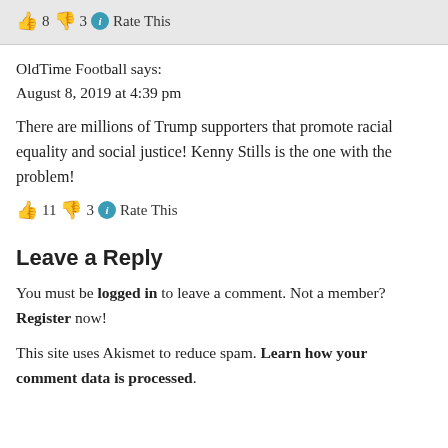👍 8 👎 3 ℹ Rate This
OldTime Football says:
August 8, 2019 at 4:39 pm
There are millions of Trump supporters that promote racial equality and social justice! Kenny Stills is the one with the problem!
👍 11 👎 3 ℹ Rate This
Leave a Reply
You must be logged in to leave a comment. Not a member? Register now!
This site uses Akismet to reduce spam. Learn how your comment data is processed.